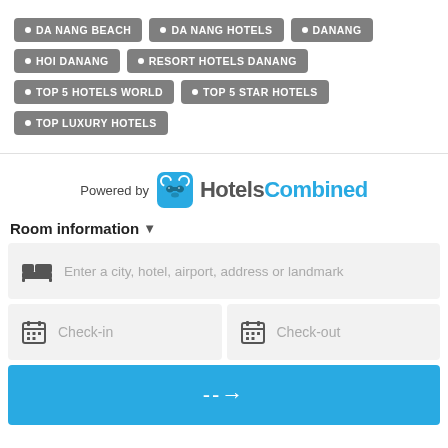DA NANG BEACH
DA NANG HOTELS
DANANG
HOI DANANG
RESORT HOTELS DANANG
TOP 5 HOTELS WORLD
TOP 5 STAR HOTELS
TOP LUXURY HOTELS
[Figure (logo): HotelsCombined logo with bear icon]
Powered by
Room information
Enter a city, hotel, airport, address or landmark
Check-in
Check-out